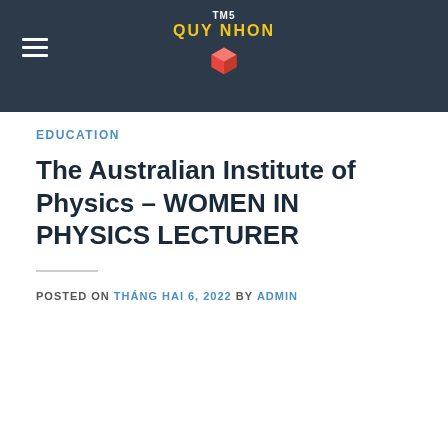TM5 QUY NHON
EDUCATION
The Australian Institute of Physics – WOMEN IN PHYSICS LECTURER
POSTED ON THÁNG HAI 6, 2022 BY ADMIN